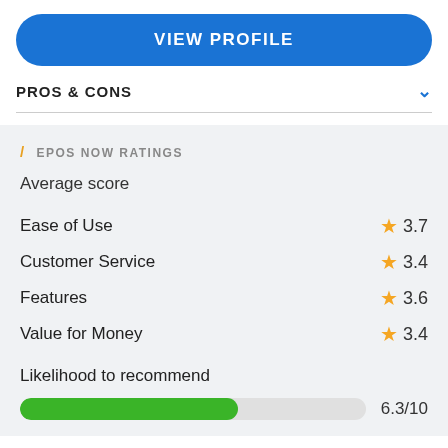VIEW PROFILE
PROS & CONS
/ EPOS NOW RATINGS
Average score
| Category | Score |
| --- | --- |
| Ease of Use | ★ 3.7 |
| Customer Service | ★ 3.4 |
| Features | ★ 3.6 |
| Value for Money | ★ 3.4 |
Likelihood to recommend
[Figure (other): Horizontal progress bar showing 6.3/10 likelihood to recommend score, green fill at 63% width]